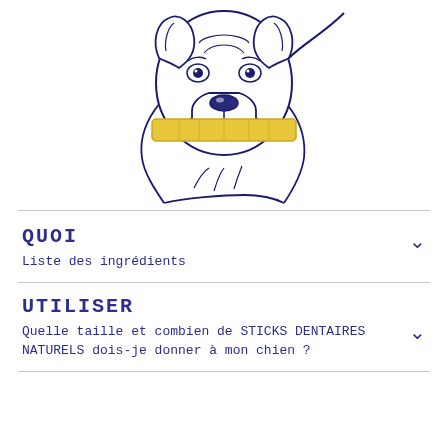[Figure (illustration): Line drawing illustration of a dog (pit bull type) holding a yellow rectangular dental stick in its mouth, drawn in dark navy/indigo outline style on white background]
QUOI
Liste des ingrédients
UTILISER
Quelle taille et combien de STICKS DENTAIRES NATURELS dois-je donner à mon chien ?